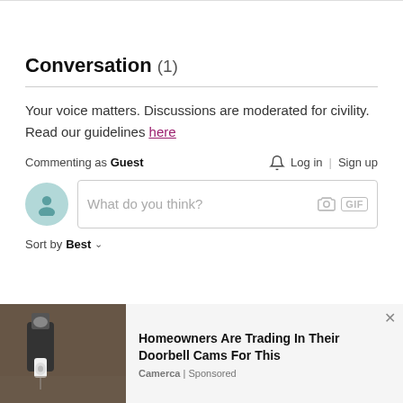Conversation (1)
Your voice matters. Discussions are moderated for civility. Read our guidelines here
Commenting as Guest   🔔 Log in | Sign up
[Figure (screenshot): Comment input box with avatar, placeholder text 'What do you think?', camera and GIF icons]
Sort by Best ∨
[Figure (infographic): Filter icon on the left and close (X) circle button on the right]
G  Guest  9y ago  ···
[Figure (photo): Advertisement image of outdoor security camera on wall]
Homeowners Are Trading In Their Doorbell Cams For This
Camerca | Sponsored